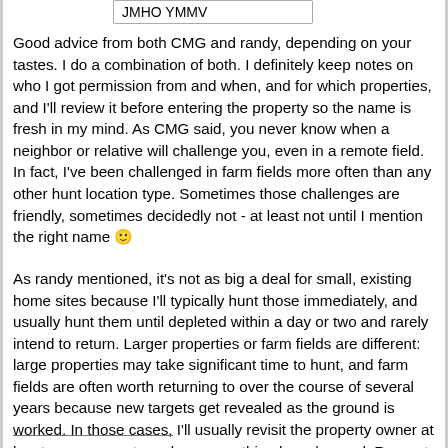JMHO YMMV
Good advice from both CMG and randy, depending on your tastes. I do a combination of both. I definitely keep notes on who I got permission from and when, and for which properties, and I'll review it before entering the property so the name is fresh in my mind. As CMG said, you never know when a neighbor or relative will challenge you, even in a remote field. In fact, I've been challenged in farm fields more often than any other hunt location type. Sometimes those challenges are friendly, sometimes decidedly not - at least not until I mention the right name 🙂
As randy mentioned, it's not as big a deal for small, existing home sites because I'll typically hunt those immediately, and usually hunt them until depleted within a day or two and rarely intend to return. Larger properties or farm fields are different: large properties may take significant time to hunt, and farm fields are often worth returning to over the course of several years because new targets get revealed as the ground is worked. In those cases, I'll usually revisit the property owner at least once a year to make sure nothing has changed. Rapport with a property owner is important, and sometimes results in more leads or permissions.